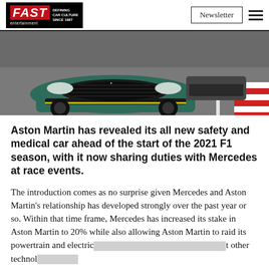FAST entertainment — Defining Car Culture Since 1987 | Newsletter
[Figure (photo): Front view of a dark teal/green Aston Martin safety car on a race track, with a red kerb visible on the right side. Another vehicle is partially visible in the background.]
Aston Martin has revealed its all new safety and medical car ahead of the start of the 2021 F1 season, with it now sharing duties with Mercedes at race events.
The introduction comes as no surprise given Mercedes and Aston Martin's relationship has developed strongly over the past year or so. Within that time frame, Mercedes has increased its stake in Aston Martin to 20% while also allowing Aston Martin to raid its powertrain and electric[...] t other technol[...]